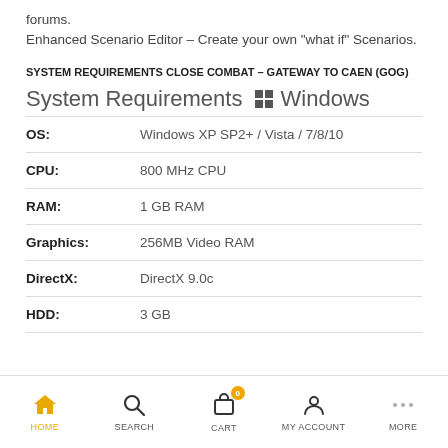forums.
Enhanced Scenario Editor – Create your own "what if" Scenarios.
SYSTEM REQUIREMENTS CLOSE COMBAT – GATEWAY TO CAEN (GOG)
System Requirements Windows
|  |  |
| --- | --- |
| OS: | Windows XP SP2+ / Vista / 7/8/10 |
| CPU: | 800 MHz CPU |
| RAM: | 1 GB RAM |
| Graphics: | 256MB Video RAM |
| DirectX: | DirectX 9.0c |
| HDD: | 3 GB |
HOME  SEARCH  CART  MY ACCOUNT  MORE